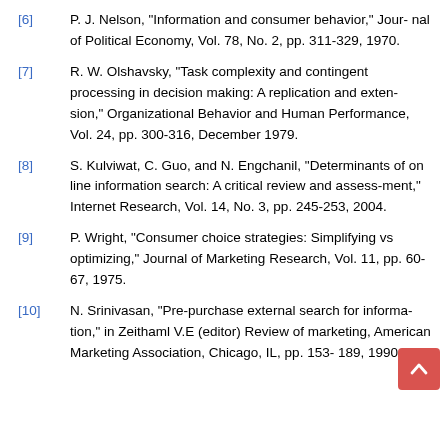[6] P. J. Nelson, “Information and consumer behavior,” Journal of Political Economy, Vol. 78, No. 2, pp. 311-329, 1970.
[7] R. W. Olshavsky, “Task complexity and contingent processing in decision making: A replication and extension,” Organizational Behavior and Human Performance, Vol. 24, pp. 300-316, December 1979.
[8] S. Kulviwat, C. Guo, and N. Engchanil, “Determinants of on line information search: A critical review and assess-ment,” Internet Research, Vol. 14, No. 3, pp. 245-253, 2004.
[9] P. Wright, “Consumer choice strategies: Simplifying vs optimizing,” Journal of Marketing Research, Vol. 11, pp. 60-67, 1975.
[10] N. Srinivasan, “Pre-purchase external search for information,” in Zeithaml V.E (editor) Review of marketing, American Marketing Association, Chicago, IL, pp. 153-189, 1990.